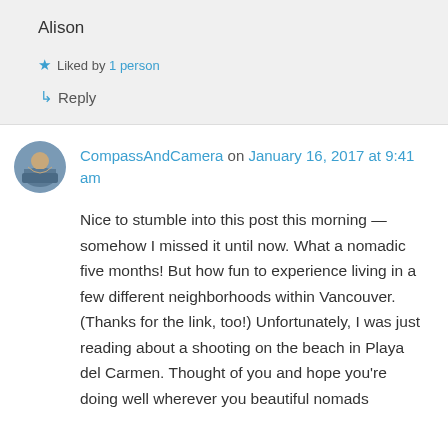Alison
★ Liked by 1 person
↳ Reply
CompassAndCamera on January 16, 2017 at 9:41 am
Nice to stumble into this post this morning — somehow I missed it until now. What a nomadic five months! But how fun to experience living in a few different neighborhoods within Vancouver. (Thanks for the link, too!) Unfortunately, I was just reading about a shooting on the beach in Playa del Carmen. Thought of you and hope you're doing well wherever you beautiful nomads